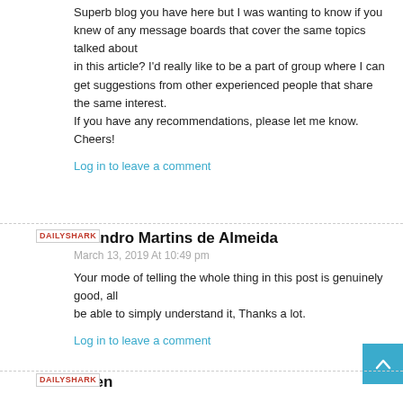Superb blog you have here but I was wanting to know if you knew of any message boards that cover the same topics talked about in this article? I'd really like to be a part of group where I can get suggestions from other experienced people that share the same interest. If you have any recommendations, please let me know. Cheers!
Log in to leave a comment
[Figure (logo): DAILYSHARK logo in red text]
Leandro Martins de Almeida
March 13, 2019 At 10:49 pm
Your mode of telling the whole thing in this post is genuinely good, all be able to simply understand it, Thanks a lot.
Log in to leave a comment
[Figure (logo): DAILYSHARK logo in red text]
Arlen